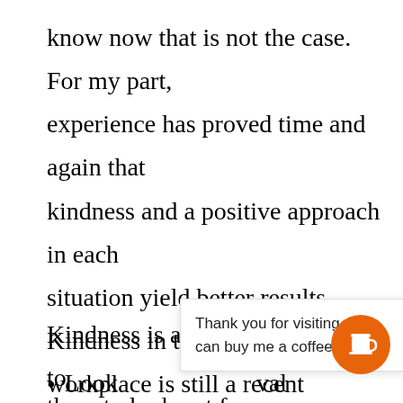know now that is not the case. For my part, experience has proved time and again that kindness and a positive approach in each situation yield better results. Kindness in the workplace is still a recent concept, happily becoming a staple.
Kindness is actually quite simple to underst
Thank you for visiting. You can buy me a coffee here!
Look                                                    val
them to look out for you